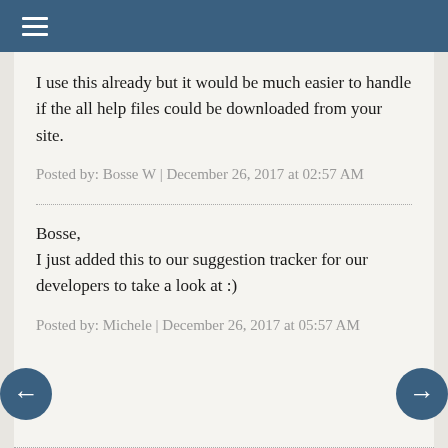I use this already but it would be much easier to handle if the all help files could be downloaded from your site.
Posted by: Bosse W | December 26, 2017 at 02:57 AM
Bosse,
I just added this to our suggestion tracker for our developers to take a look at :)
Posted by: Michele | December 26, 2017 at 05:57 AM